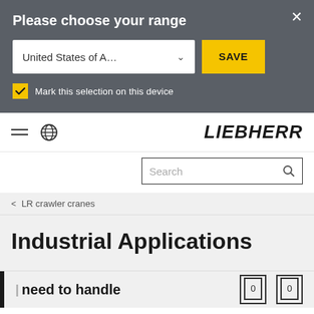Please choose your range
[Figure (screenshot): Dropdown selector showing 'United States of A...' with a yellow SAVE button and a checked checkbox labeled 'Mark this selection on this device']
[Figure (logo): LIEBHERR logo in bold italic black text with hamburger menu and globe icon]
[Figure (screenshot): Search box with placeholder text 'Search' and magnifying glass icon]
< LR crawler cranes
Industrial Applications
| need to handle